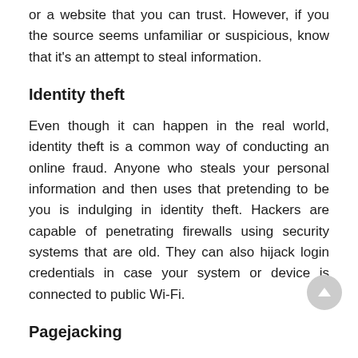or a website that you can trust. However, if you the source seems unfamiliar or suspicious, know that it's an attempt to steal information.
Identity theft
Even though it can happen in the real world, identity theft is a common way of conducting an online fraud. Anyone who steals your personal information and then uses that pretending to be you is indulging in identity theft. Hackers are capable of penetrating firewalls using security systems that are old. They can also hijack login credentials in case your system or device is connected to public Wi-Fi.
Pagejacking
Another manoeuvre employed by hackers is rerouting traffic from the ecommerce site your logged into. This is done by hijacking a part of it followed by taking the visitors to another website. This site may contain material that hackers can use for